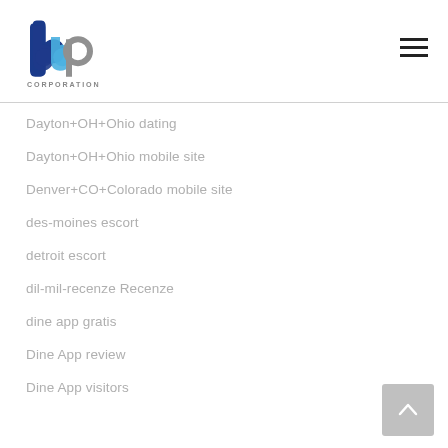[Figure (logo): bbp Corporation logo with blue and grey letter shapes and 'CORPORATION' text below]
Dayton+OH+Ohio dating
Dayton+OH+Ohio mobile site
Denver+CO+Colorado mobile site
des-moines escort
detroit escort
dil-mil-recenze Recenze
dine app gratis
Dine App review
Dine App visitors